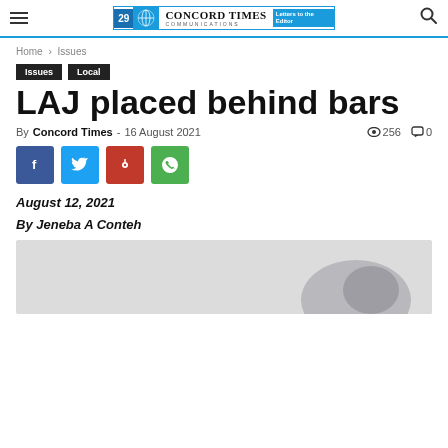Concord Times Communications — Letters to the Editor
Home › Issues
Issues   Local
LAJ placed behind bars
By Concord Times - 16 August 2021  👁 256  💬 0
[Figure (other): Social share buttons: Facebook, Twitter, Pinterest, WhatsApp]
August 12, 2021
By Jeneba A Conteh
[Figure (photo): Article image, partially visible, showing a grey background with a partial figure]